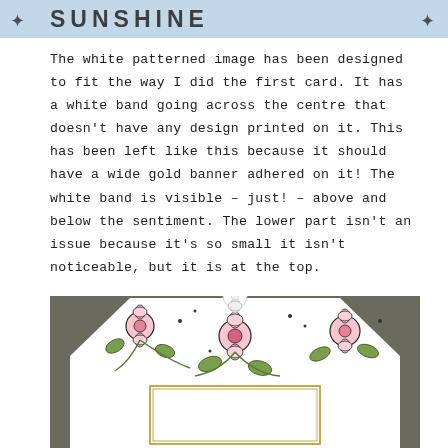[Figure (photo): Partial view of a decorative card with floral patterned paper and dark text at the top, cropped at the top of the page]
The white patterned image has been designed to fit the way I did the first card. It has a white band going across the centre that doesn't have any design printed on it. This has been left like this because it should have a wide gold banner adhered on it! The white band is visible – just! – above and below the sentiment. The lower part isn't an issue because it's so small it isn't noticeable, but it is at the top.
[Figure (photo): Photo of a handmade card with white floral patterned paper (pink flowers and green leaves on white background) shaped in a hexagon or decorative shape, with gold trim, placed on a gray-brown surface. A small white flower embellishment is visible at the top.]